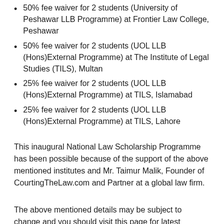50% fee waiver for 2 students (University of Peshawar LLB Programme) at Frontier Law College, Peshawar
50% fee waiver for 2 students (UOL LLB (Hons)External Programme) at The Institute of Legal Studies (TILS), Multan
25% fee waiver for 2 students (UOL LLB (Hons)External Programme) at TILS, Islamabad
25% fee waiver for 2 students (UOL LLB (Hons)External Programme) at TILS, Lahore
This inaugural National Law Scholarship Programme has been possible because of the support of the above mentioned institutes and Mr. Taimur Malik, Founder of CourtingTheLaw.com and Partner at a global law firm.
The above mentioned details may be subject to change and you should visit this page for latest updates and information regarding the National Law Scholarship Programme 2015.